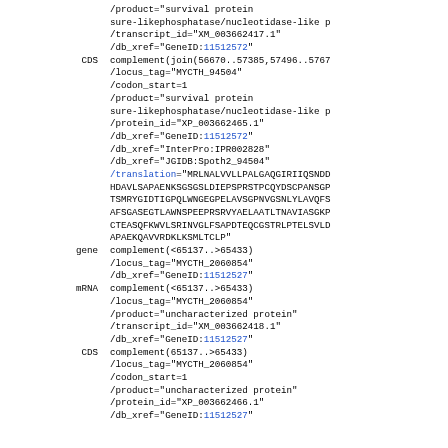Genomic annotation feature table excerpt showing gene, mRNA, and CDS records for MYCTH_94504 and MYCTH_2060854 loci in GenBank format.